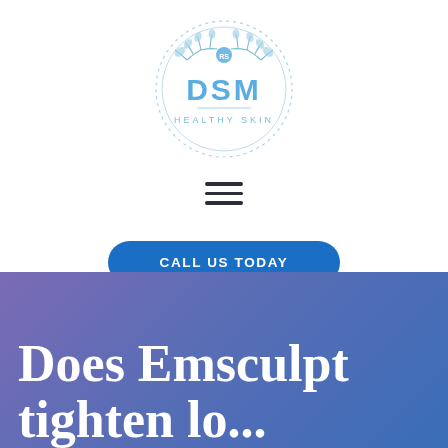[Figure (logo): DSM Healthy Skin circular logo with laurel wings and dotted border, light blue color scheme]
[Figure (other): Hamburger menu icon — three horizontal dark lines]
CALL US TODAY
Does Emsculpt tighten lo...